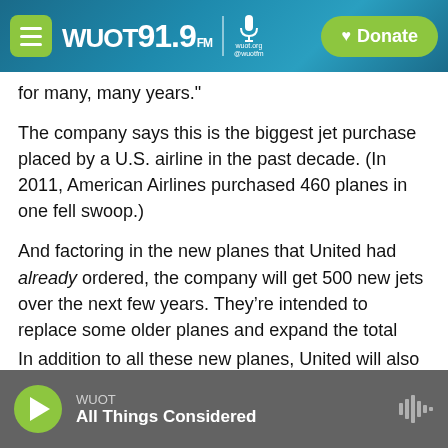WUOT 91.9 FM | wuot.org @wuotfm | Donate
for many, many years."
The company says this is the biggest jet purchase placed by a U.S. airline in the past decade. (In 2011, American Airlines purchased 460 planes in one fell swoop.)
And factoring in the new planes that United had already ordered, the company will get 500 new jets over the next few years. They’re intended to replace some older planes and expand the total size of the fleet, allowing for more daily departures.
WUOT | All Things Considered